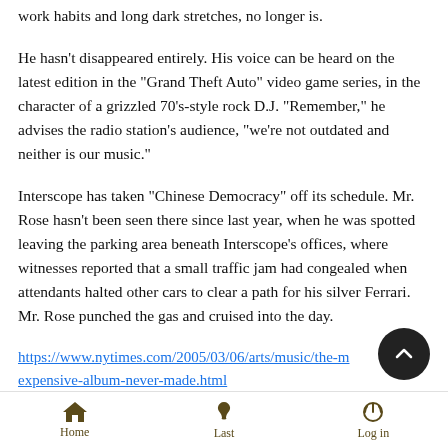work habits and long dark stretches, no longer is.
He hasn't disappeared entirely. His voice can be heard on the latest edition in the "Grand Theft Auto" video game series, in the character of a grizzled 70's-style rock D.J. "Remember," he advises the radio station's audience, "we're not outdated and neither is our music."
Interscope has taken “Chinese Democracy” off its schedule. Mr. Rose hasn't been seen there since last year, when he was spotted leaving the parking area beneath Interscope's offices, where witnesses reported that a small traffic jam had congealed when attendants halted other cars to clear a path for his silver Ferrari. Mr. Rose punched the gas and cruised into the day.
https://www.nytimes.com/2005/03/06/arts/music/the-m expensive-album-never-made.html
https://web.archive.org/web/20050307002603/http://www.iht
Home   Last   Log in